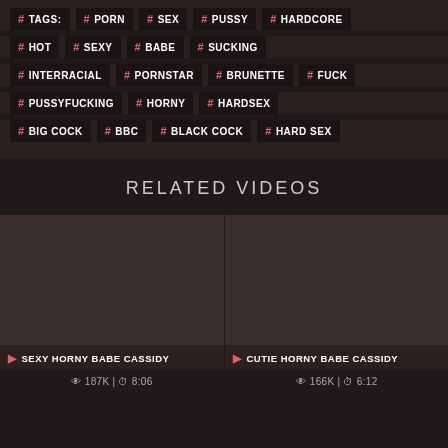# TAGS: # PORN # SEX # PUSSY # HARDCORE
# HOT # SEXY # BABE # SUCKING
# INTERRACIAL # PORNSTAR # BRUNETTE # FUCK
# PUSSYFUCKING # HORNY # HARDSEX
# BIG COCK # BBC # BLACK COCK # HARD SEX
RELATED VIDEOS
[Figure (screenshot): Video thumbnail placeholder for SEXY HORNY BABE CASSIDY]
SEXY HORNY BABE CASSIDY
187K | 8:06
[Figure (screenshot): Video thumbnail placeholder for CUTIE HORNY BABE CASSIDY]
CUTIE HORNY BABE CASSIDY
166K | 6:12